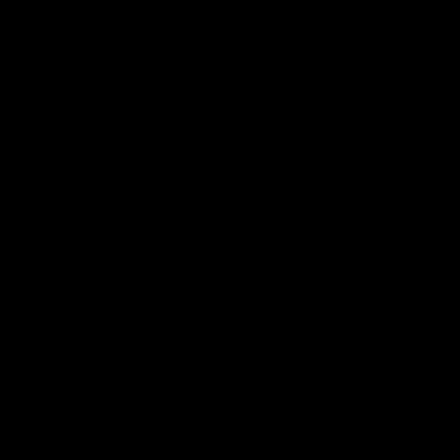Shuggie Otis - Inspiration Information-FLAC-1974-C...
Shurikn-Tous Mappellent Shu-FR-CD-FLAC-2012-M...
Shyne-Godfather Buried Alive-CD-FLAC-2004-JLM
Sidi Omar-Borderline-FR-CD-FLAC-2013-Mrflac
Sidi-O-Extrait Damertume-FR-CD-FLAC-2007-Mrfl...
Sido Feat. Mark Forster-Einer Dieser Steine-DE-CDS
Sido-Beste-DE-2CD-FLAC-2012-VOLDiES
Sido-Carmen-DE-CDM-FLAC-2008-VOLDiES
Sido-Maske-DE-CD-FLAC-2004-VOLDiES
Signmark-Silent Shout-CD-FLAC-2014-DeVOiD
Silk Sonic-An Evening With Silk Sonic-CD-FLAC-20...
Silk Tymes Leather-New Jack Thang-VLS-FLAC-199...
Silk-Freak Me-CDM-FLAC-1993-NBFLAC
Silk-Girl U For Me-CDM-FLAC-1993-THEVOiD
Silk-Hooked On You-(EKR212CD)-CDM-FLAC-199...
Silk-If You Lovin Me-CDS-FLAC-1999-EMG
Silk-Lose Control-(61394-2)-CD-FLAC-1992-EMG
Silk-Silk-CD-FLAC-1994-Mrflac
Silk-Tonight-CD-FLAC-1999-Mrflac
Silla-Monster Tour Mixtape Mixed By Jim Tonic-DE-...
Silver Bullet-Bring Down The Walls No Limit Squad
Silver Bullet-Bring Down The Walls No Limit Squad
Silver Bullet-Bring Down The Walls No Limit Squad
Silver Bullet-Undercover Anarchist-CDS-FLAC-1991...
Simply Red-Never Never Love The Remixes-(EW02...